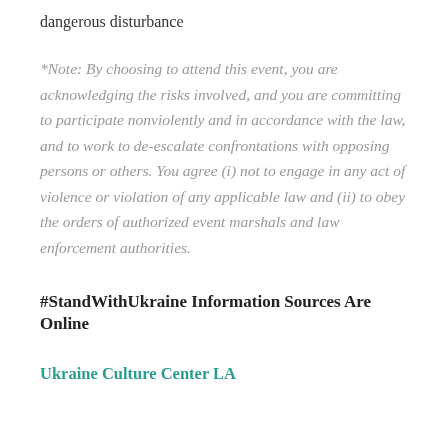dangerous disturbance
*Note: By choosing to attend this event, you are acknowledging the risks involved, and you are committing to participate nonviolently and in accordance with the law, and to work to de-escalate confrontations with opposing persons or others. You agree (i) not to engage in any act of violence or violation of any applicable law and (ii) to obey the orders of authorized event marshals and law enforcement authorities.
#StandWithUkraine Information Sources Are Online
Ukraine Culture Center LA